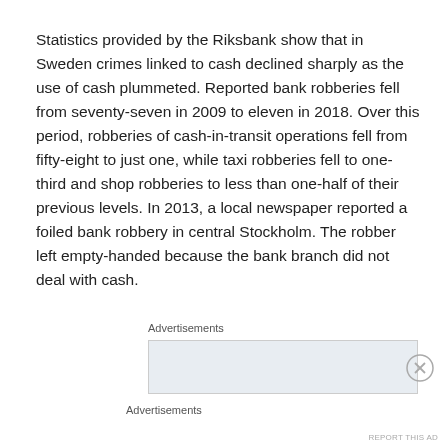Statistics provided by the Riksbank show that in Sweden crimes linked to cash declined sharply as the use of cash plummeted. Reported bank robberies fell from seventy-seven in 2009 to eleven in 2018. Over this period, robberies of cash-in-transit operations fell from fifty-eight to just one, while taxi robberies fell to one-third and shop robberies to less than one-half of their previous levels. In 2013, a local newspaper reported a foiled bank robbery in central Stockholm. The robber left empty-handed because the bank branch did not deal with cash.
Advertisements
[Figure (other): Advertisement placeholder box with light blue-grey background]
Advertisements
REPORT THIS AD